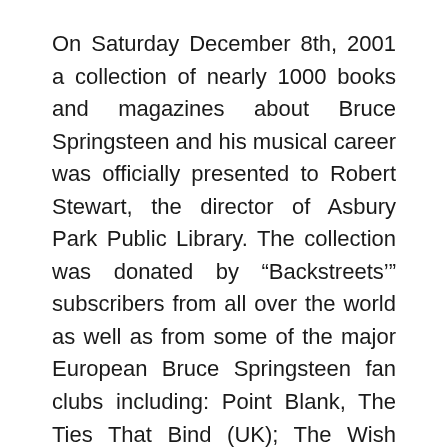On Saturday December 8th, 2001 a collection of nearly 1000 books and magazines about Bruce Springsteen and his musical career was officially presented to Robert Stewart, the director of Asbury Park Public Library. The collection was donated by “Backstreets’” subscribers from all over the world as well as from some of the major European Bruce Springsteen fan clubs including: Point Blank, The Ties That Bind (UK); The Wish (Germany); The Stone Pony (Spain); and Roulette (Holland).
The dedication was organized on behalf of “Backstreets” by Save Tillie Inc., whose